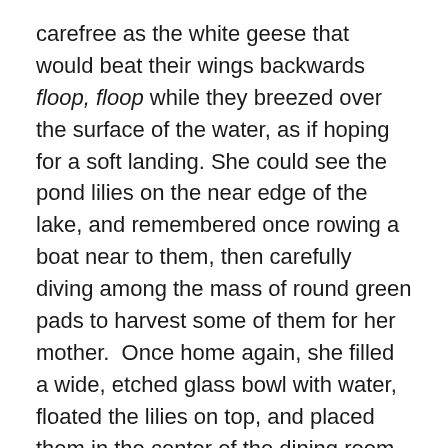carefree as the white geese that would beat their wings backwards floop, floop while they breezed over the surface of the water, as if hoping for a soft landing. She could see the pond lilies on the near edge of the lake, and remembered once rowing a boat near to them, then carefully diving among the mass of round green pads to harvest some of them for her mother.  Once home again, she filled a wide, etched glass bowl with water, floated the lilies on top, and placed them in the center of the dining room table. Was there an unconscious desire that it could act as a shrine to her loving apology to her parents? Perhaps.
Their layers of waxy white petals and enormous golden pollen-encrusted stamens sang to her of China somehow, or Japan; their long roots grabbed at her as she tried to float them, and soon they started their journey on the